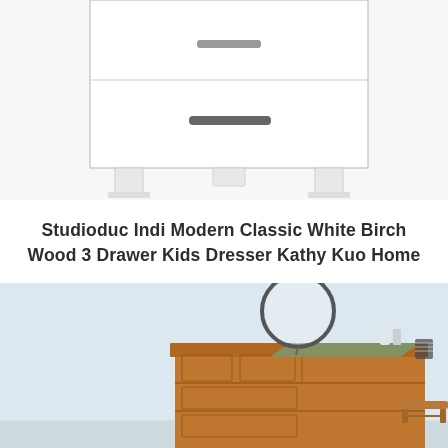[Figure (photo): White modern dresser with two drawers and a dark horizontal bar handle, on white angled legs, against a white background. Top portion of the dresser is cropped.]
Studioduc Indi Modern Classic White Birch Wood 3 Drawer Kids Dresser Kathy Kuo Home
[Figure (photo): Wooden dresser with multiple drawers in a light blue room with a round mirror on top, various items, and a small wooden stool beside it.]